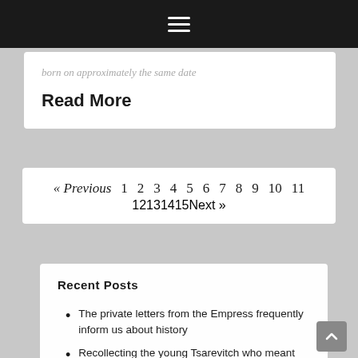☰
born on approximately the same date
Read More
« Previous 1 2 3 4 5 6 7 8 9 10 11 12 13 14 15 Next »
Recent Posts
The private letters from the Empress frequently inform us about history
Recollecting the young Tsarevitch who meant the world to Pavel Voronov